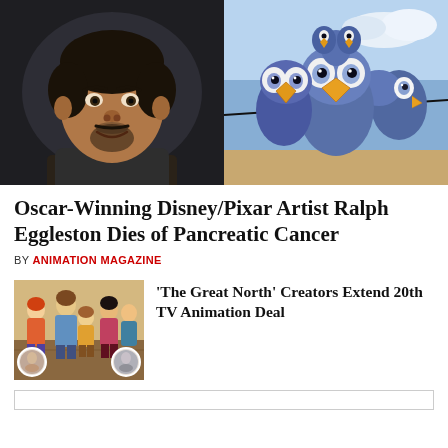[Figure (photo): Left half: headshot of a middle-aged man with dark hair and goatee, wearing dark shirt, dark background. Right half: animated Pixar-style cartoon birds with large eyes and orange beaks, blue feathers, sunny background.]
Oscar-Winning Disney/Pixar Artist Ralph Eggleston Dies of Pancreatic Cancer
BY ANIMATION MAGAZINE
[Figure (photo): Thumbnail image showing animated characters from 'The Great North' — a family of cartoon characters standing together, with two circular inset photos of real people (creators) overlaid at top corners.]
'The Great North' Creators Extend 20th TV Animation Deal